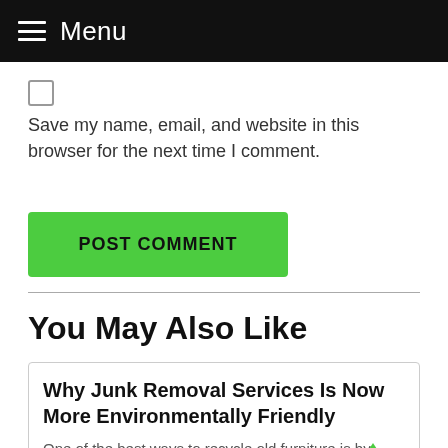Menu
Save my name, email, and website in this browser for the next time I comment.
POST COMMENT
You May Also Like
Why Junk Removal Services Is Now More Environmentally Friendly
One of the best ways to recycle old furniture is by hiring a local furniture removal and recycling company. This ...